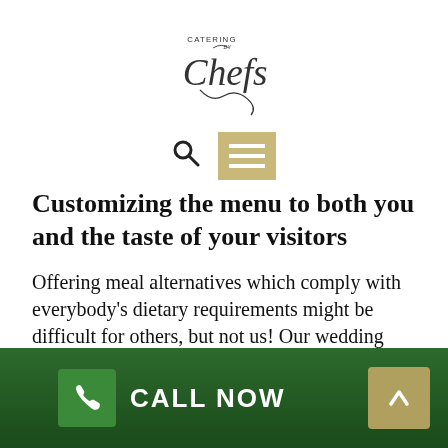[Figure (logo): Catering by Chefs logo with cursive script text]
[Figure (infographic): Navigation bar with search icon and hamburger menu button on tan/gold background]
Customizing the menu to both you and the taste of your visitors
Offering meal alternatives which comply with everybody's dietary requirements might be difficult for others, but not us! Our wedding event caterers are willing to work carefully with you, to guarantee that no one on your visitor list goes wanting on the day or for the bridal party prior. We can accommodate those who have any allergic reactions easily and efficiently, and our
CALL NOW